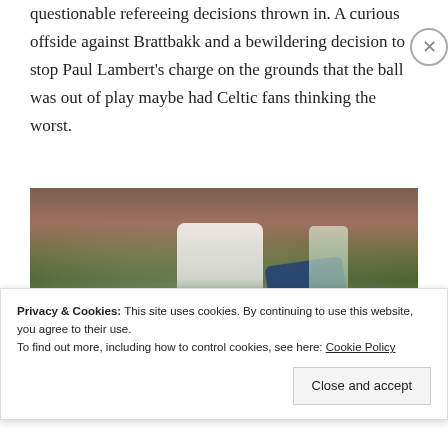questionable refereeing decisions thrown in. A curious offside against Brattbakk and a bewildering decision to stop Paul Lambert's charge on the grounds that the ball was out of play maybe had Celtic fans thinking the worst.
[Figure (photo): Action photograph of a Celtic vs Rangers football match. A Celtic player in green-and-white hooped shirt challenges a Rangers player in dark blue kit on the pitch, with a crowd of spectators visible in the background.]
Privacy & Cookies: This site uses cookies. By continuing to use this website, you agree to their use.
To find out more, including how to control cookies, see here: Cookie Policy